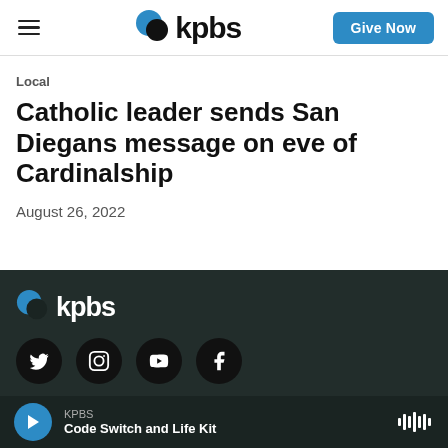kpbs | Give Now
Local
Catholic leader sends San Diegans message on eve of Cardinalship
August 26, 2022
[Figure (logo): KPBS logo in white on dark background in footer section]
[Figure (infographic): Social media icons: Twitter, Instagram, YouTube, Facebook on dark background]
KPBS | Code Switch and Life Kit